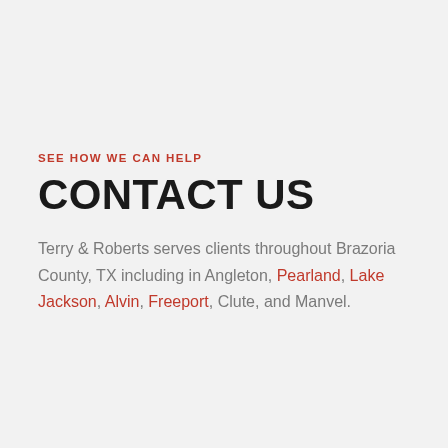SEE HOW WE CAN HELP
CONTACT US
Terry & Roberts serves clients throughout Brazoria County, TX including in Angleton, Pearland, Lake Jackson, Alvin, Freeport, Clute, and Manvel.